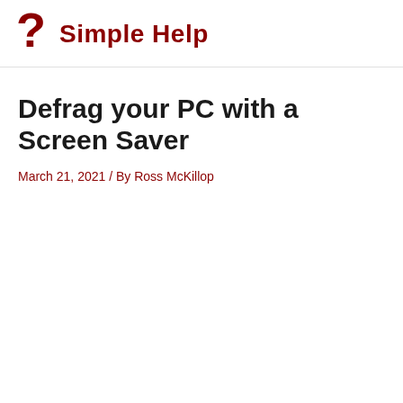Simple Help
Defrag your PC with a Screen Saver
March 21, 2021 / By Ross McKillop